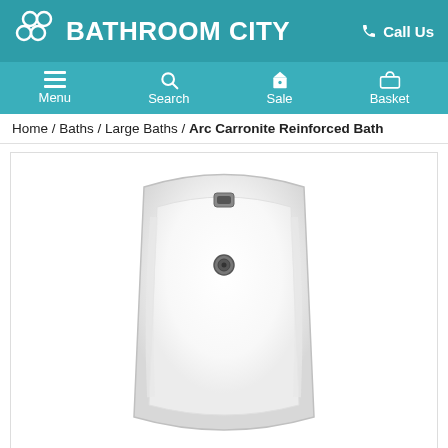BATHROOM CITY | Call Us
Menu | Search | Sale | Basket
Home / Baths / Large Baths / Arc Carronite Reinforced Bath
[Figure (photo): Top-down view of a white Arc Carronite Reinforced Bath showing the overflow and drain fixture, viewed from above against a white background]